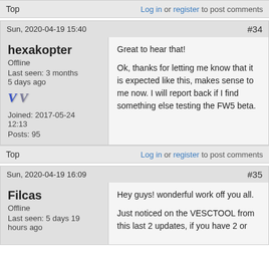Top
Log in or register to post comments
Sun, 2020-04-19 15:40
#34
hexakopter
Offline
Last seen: 3 months 5 days ago
Joined: 2017-05-24 12:13
Posts: 95
Great to hear that!

Ok, thanks for letting me know that it is expected like this, makes sense to me now. I will report back if I find something else testing the FW5 beta.
Top
Log in or register to post comments
Sun, 2020-04-19 16:09
#35
Filcas
Offline
Last seen: 5 days 19 hours ago
Hey guys! wonderful work off you all.

Just noticed on the VESCTOOL from this last 2 updates, if you have 2 or